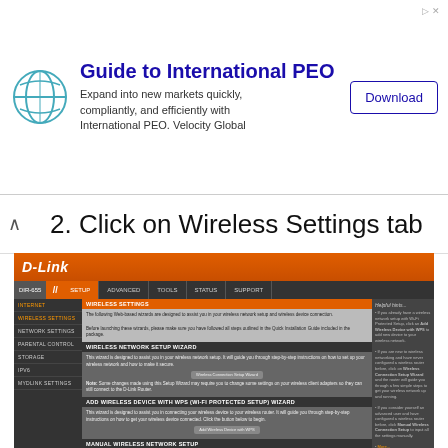[Figure (screenshot): Advertisement banner for 'Guide to International PEO' by Velocity Global with Download button]
2. Click on Wireless Settings tab
[Figure (screenshot): D-Link router web interface screenshot showing Wireless Settings page with Wireless Network Setup Wizard, Add Wireless Device with WPS Wizard, and Manual Wireless Network Setup sections]